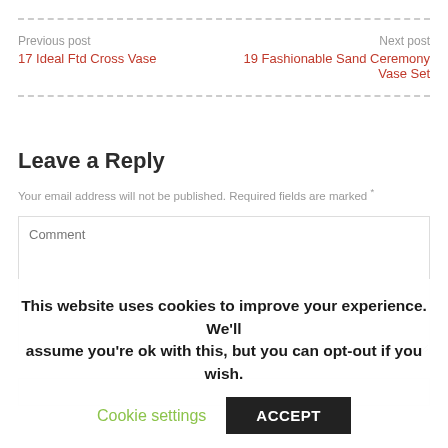Previous post
17 Ideal Ftd Cross Vase
Next post
19 Fashionable Sand Ceremony Vase Set
Leave a Reply
Your email address will not be published. Required fields are marked *
Comment
This website uses cookies to improve your experience. We'll assume you're ok with this, but you can opt-out if you wish.
Cookie settings
ACCEPT